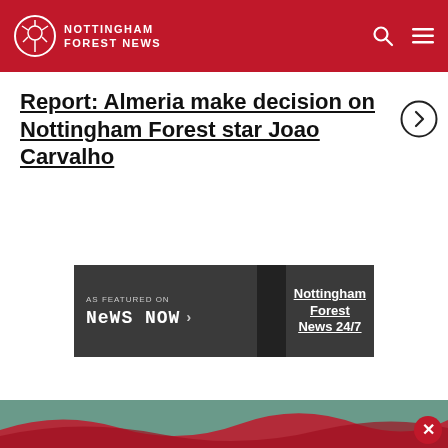Nottingham Forest News
Report: Almeria make decision on Nottingham Forest star Joao Carvalho
[Figure (infographic): News Now featured banner with 'AS FEATURED ON NEWS NOW' text and 'Nottingham Forest News 24/7' link]
[Figure (photo): Partial bottom strip showing bottom of a page with a red wavy banner and close button]